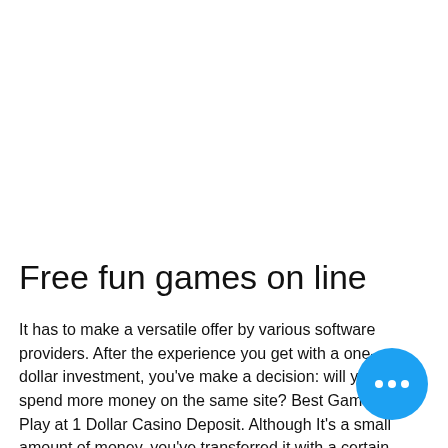Free fun games on line
It has to make a versatile offer by various software providers. After the experience you get with a one-dollar investment, you've make a decision: will you spend more money on the same site? Best Games to Play at 1 Dollar Casino Deposit. Although It's a small amount of money, you've transferred it with a certain bonus you get...